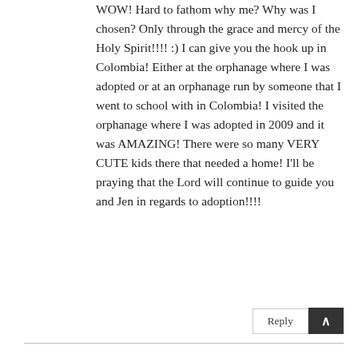WOW! Hard to fathom why me? Why was I chosen? Only through the grace and mercy of the Holy Spirit!!!! :) I can give you the hook up in Colombia! Either at the orphanage where I was adopted or at an orphanage run by someone that I went to school with in Colombia! I visited the orphanage where I was adopted in 2009 and it was AMAZING! There were so many VERY CUTE kids there that needed a home! I'll be praying that the Lord will continue to guide you and Jen in regards to adoption!!!!
Reply